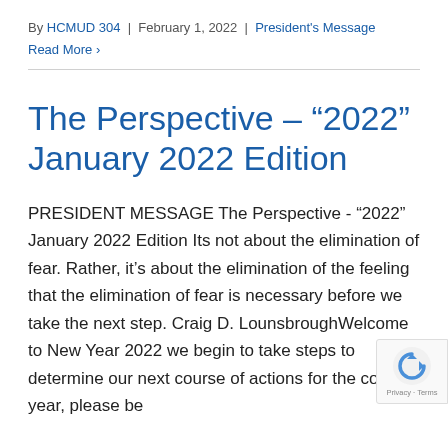By HCMUD 304 | February 1, 2022 | President's Message
Read More ›
The Perspective – “2022” January 2022 Edition
PRESIDENT MESSAGE The Perspective - “2022” January 2022 Edition Its not about the elimination of fear. Rather, it’s about the elimination of the feeling that the elimination of fear is necessary before we take the next step. Craig D. LounsbroughWelcome to New Year 2022 we begin to take steps to determine our next course of actions for the coming year, please be